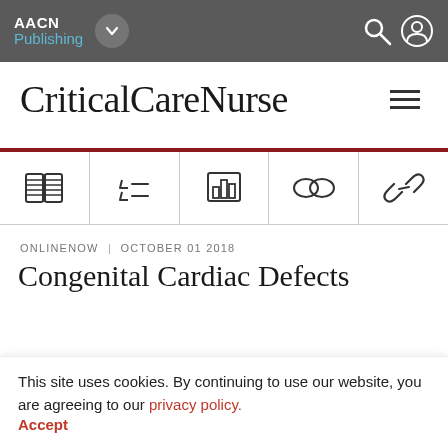AACN Publishing
CriticalCareNurse
[Figure (screenshot): Icon toolbar with five icons: open book, citations/references, bar chart/data, linked circles, and chain/link icons]
ONLINENOW | OCTOBER 01 2018
Congenital Cardiac Defects
This site uses cookies. By continuing to use our website, you are agreeing to our privacy policy. Accept